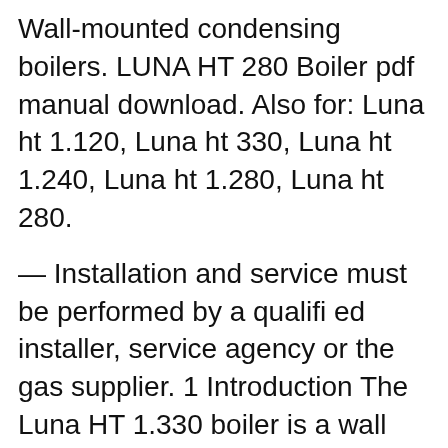Wall-mounted condensing boilers. LUNA HT 280 Boiler pdf manual download. Also for: Luna ht 1.120, Luna ht 330, Luna ht 1.240, Luna ht 1.280, Luna ht 280.
— Installation and service must be performed by a qualified installer, service agency or the gas supplier. 1 Introduction The Luna HT 1.330 boiler is a wall hung, fan assisted room-sealed com-bination boiler. The boiler, is designed for use with a fully pumped, sealed and pressurised heating system. CUSTOMER SERVICE (800) 536 - 1582 Mon - Fri 8am - 6pm EST HT 330 Manual (Acrobat Reader Required) Sort By: Page of 4 : Baxi Teledyne Laars Luna HT 380